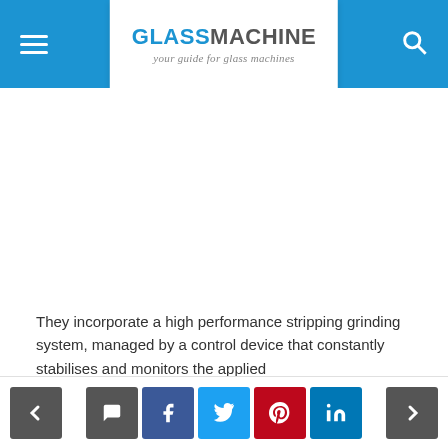GLASSMACHINE — your guide for glass machines
[Figure (other): Large white blank content/advertisement area]
They incorporate a high performance stripping grinding system, managed by a control device that constantly stabilises and monitors the applied
Navigation and social sharing buttons: back, comment, Facebook, Twitter, Pinterest, LinkedIn, forward